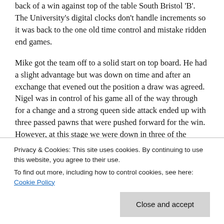back of a win against top of the table South Bristol 'B'. The University's digital clocks don't handle increments so it was back to the one old time control and mistake ridden end games.
Mike got the team off to a solid start on top board. He had a slight advantage but was down on time and after an exchange that evened out the position a draw was agreed. Nigel was in control of his game all of the way through for a change and a strong queen side attack ended up with three passed pawns that were pushed forward for the win. However, at this stage we were down in three of the remaining games with only Rob...
Privacy & Cookies: This site uses cookies. By continuing to use this website, you agree to their use.
To find out more, including how to control cookies, see here: Cookie Policy